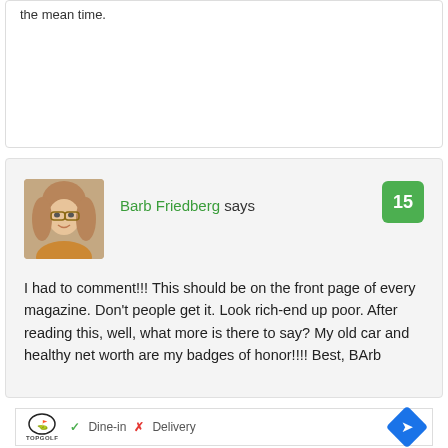the mean time.
Barb Friedberg says
15
I had to comment!!! This should be on the front page of every magazine. Don't people get it. Look rich-end up poor. After reading this, well, what more is there to say? My old car and healthy net worth are my badges of honor!!!! Best, BArb
[Figure (screenshot): Advertisement banner for Topgolf showing logo, Dine-in and Delivery options with checkmark and X, and a blue diamond navigation arrow]